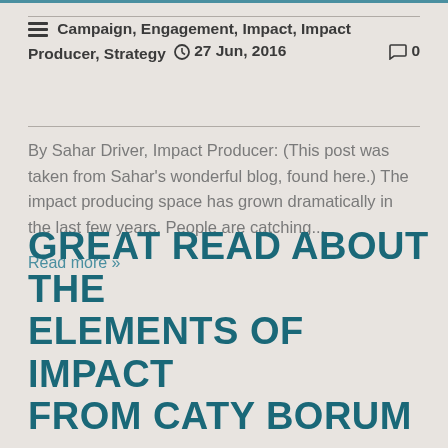☰ Campaign, Engagement, Impact, Impact Producer, Strategy 🕐 27 Jun, 2016   💬 0
By Sahar Driver, Impact Producer: (This post was taken from Sahar's wonderful blog, found here.) The impact producing space has grown dramatically in the last few years. People are catching...
Read more »
GREAT READ ABOUT THE ELEMENTS OF IMPACT FROM CATY BORUM